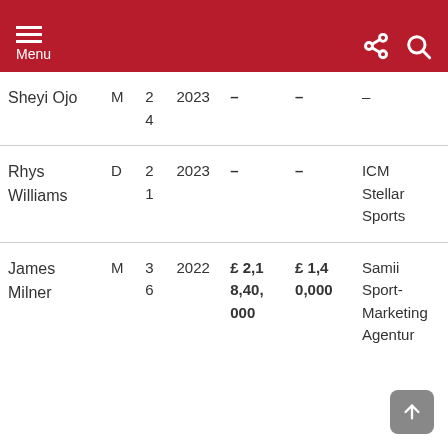Menu
| Name | Pos | No | Year | Val1 | Val2 | Agency |
| --- | --- | --- | --- | --- | --- | --- |
| Sheyi Ojo | M | 24 | 2023 | – | – | – |
| Rhys Williams | D | 21 | 2023 | – | – | ICM Stellar Sports |
| James Milner | M | 36 | 2022 | £ 2,18,40,000 | £ 1,40,000 | Samii Sport-Marketing Agentur |